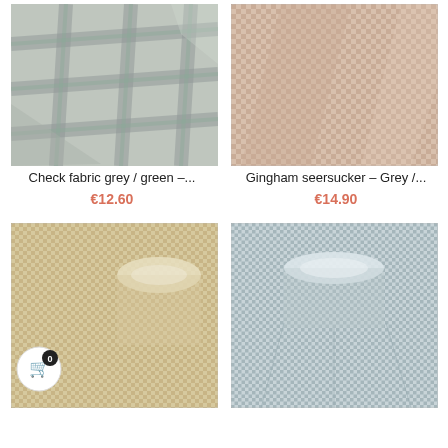[Figure (photo): Check fabric grey/green plaid textile folded, top-left product]
[Figure (photo): Gingham seersucker Grey fabric folded, top-right product]
Check fabric grey / green -...
€12.60
Gingham seersucker - Grey /...
€14.90
[Figure (photo): Beige/tan gingham fabric rolled on a bolt, bottom-left product]
[Figure (photo): Grey/white gingham seersucker fabric rolled on a bolt, bottom-right product]